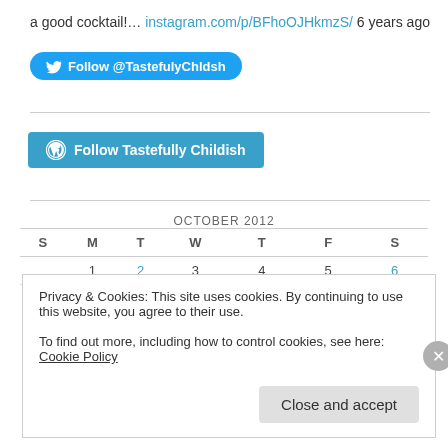a good cocktail!… instagram.com/p/BFhoOJHkmzS/ 6 years ago
[Figure (other): Twitter Follow button: Follow @TastefulyChldsh]
[Figure (other): WordPress Follow button: Follow Tastefully Childish]
| S | M | T | W | T | F | S |
| --- | --- | --- | --- | --- | --- | --- |
|  | 1 | 2 | 3 | 4 | 5 | 6 |
| 7 | 8 | 9 | 10 | 11 | 12 | 13 |
Privacy & Cookies: This site uses cookies. By continuing to use this website, you agree to their use.
To find out more, including how to control cookies, see here: Cookie Policy